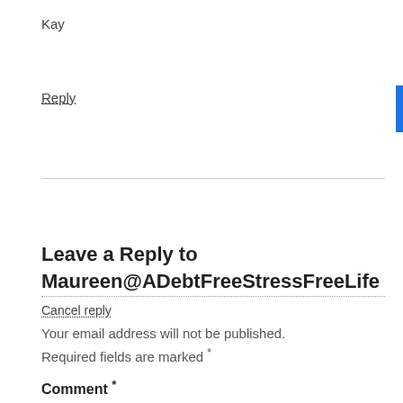Kay
Reply
Leave a Reply to Maureen@ADebtFreeStressFreeLife
Cancel reply
Your email address will not be published. Required fields are marked *
Comment *